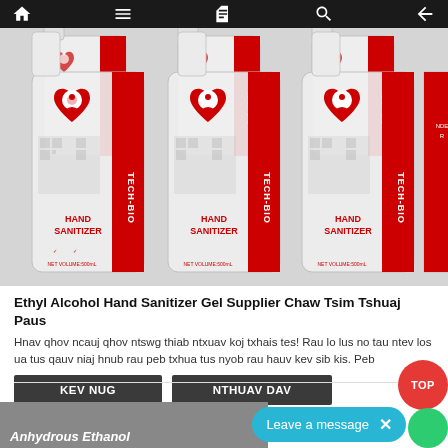[Figure (photo): Multiple TECH-BIO Hand Sanitizer Gel bottles (500mL) arranged in rows on a gray background]
Ethyl Alcohol Hand Sanitizer Gel Supplier Chaw Tsim Tshuaj Paus
Hnav qhov ncauj qhov ntswg thiab ntxuav koj txhais tes! Rau lo lus no tau ntev los ua tus qauv niaj hnub rau peb txhua tus nyob rau hauv kev sib kis. Peb
KEV NUG
NTHUAV DAV